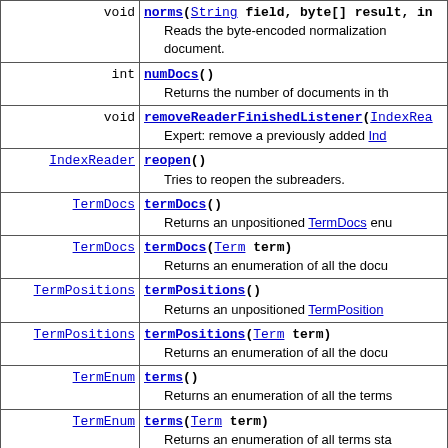| Type | Method and Description |
| --- | --- |
| void | norms(String field, byte[] result, in
        Reads the byte-encoded normalization document. |
| int | numDocs()
        Returns the number of documents in th |
| void | removeReaderFinishedListener(IndexRea
        Expert: remove a previously added Ind |
| IndexReader | reopen()
        Tries to reopen the subreaders. |
| TermDocs | termDocs()
        Returns an unpositioned TermDocs enu |
| TermDocs | termDocs(Term term)
        Returns an enumeration of all the docu |
| TermPositions | termPositions()
        Returns an unpositioned TermPosition |
| TermPositions | termPositions(Term term)
        Returns an enumeration of all the docu |
| TermEnum | terms()
        Returns an enumeration of all the terms |
| TermEnum | terms(Term term)
        Returns an enumeration of all terms sta |
| String | toString() |